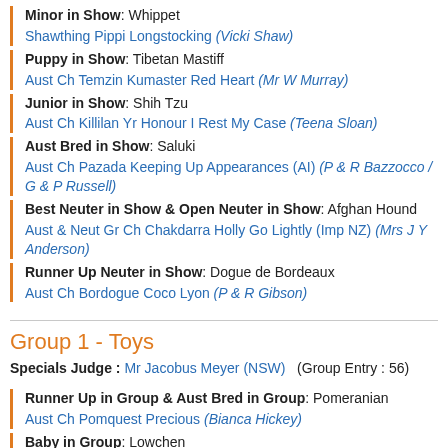Minor in Show: Whippet
Shawthing Pippi Longstocking (Vicki Shaw)
Puppy in Show: Tibetan Mastiff
Aust Ch Temzin Kumaster Red Heart (Mr W Murray)
Junior in Show: Shih Tzu
Aust Ch Killilan Yr Honour I Rest My Case (Teena Sloan)
Aust Bred in Show: Saluki
Aust Ch Pazada Keeping Up Appearances (AI) (P & R Bazzocco / G & P Russell)
Best Neuter in Show & Open Neuter in Show: Afghan Hound
Aust & Neut Gr Ch Chakdarra Holly Go Lightly (Imp NZ) (Mrs J Y Anderson)
Runner Up Neuter in Show: Dogue de Bordeaux
Aust Ch Bordogue Coco Lyon (P & R Gibson)
Group 1 - Toys
Specials Judge : Mr Jacobus Meyer (NSW)  (Group Entry : 56)
Runner Up in Group & Aust Bred in Group: Pomeranian
Aust Ch Pomquest Precious (Bianca Hickey)
Baby in Group: Lowchen
Paceaway Dance Monkey (Ms F E L Darling)
Minor in Group: Pug